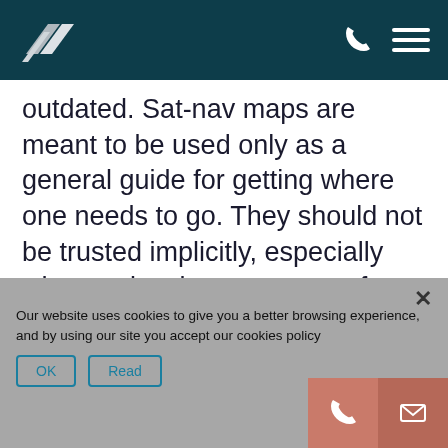Header bar with logo and navigation icons
outdated. Sat-nav maps are meant to be used only as a general guide for getting where one needs to go. They should not be trusted implicitly, especially when a visual assessment of a local area makes it clear that sat-nav instructions could be wrong. Common sense must prevail in order to cut down on the number of incidents seen in towns and villages like Buckshaw.
Our website uses cookies to give you a better browsing experience, and by using our site you accept our cookies policy
OK   Read